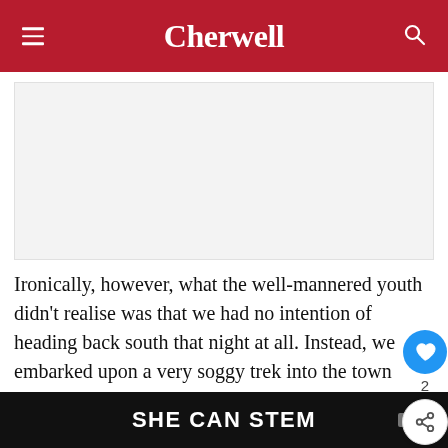Cherwell
[Figure (other): Advertisement placeholder box (gray rectangle)]
Ironically, however, what the well-mannered youth didn't realise was that we had no intention of heading back south that night at all. Instead, we embarked upon a very soggy trek into the town centre along the Leeds-Liverpool Canal, straight past George Orwell's famous Wigan Pier (a more sto...
SHE CAN STEM